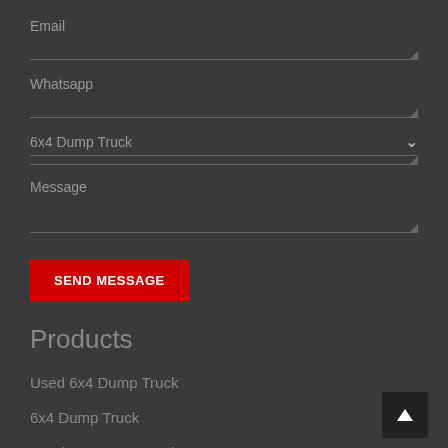Email
Whatsapp
6x4 Dump Truck
Message
SEND MESSAGE
Products
Used 6x4 Dump Truck
6x4 Dump Truck
Used 8x4 Dump Truck